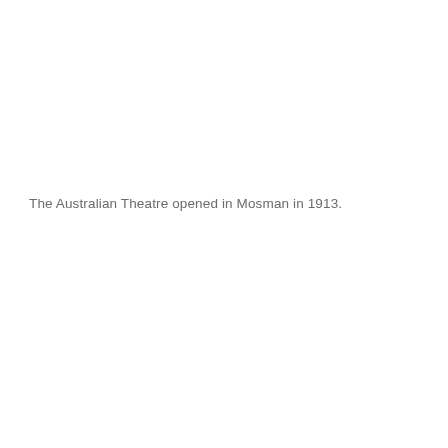The Australian Theatre opened in Mosman in 1913.